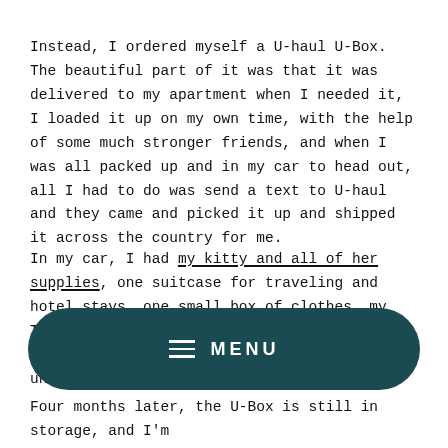have a trailer to deal with. Moms know best.
Instead, I ordered myself a U-haul U-Box. The beautiful part of it was that it was delivered to my apartment when I needed it, I loaded it up on my own time, with the help of some much stronger friends, and when I was all packed up and in my car to head out, all I had to do was send a text to U-haul and they came and picked it up and shipped it across the country for me.
In my car, I had my kitty and all of her supplies, one suitcase for traveling and hotel stays, one small box of clothes, my TV, my laptop and monitor, some plants, my nightstand, my sewing machine, and two under-bed storage...
Four months later, the U-Box is still in storage, and I'm